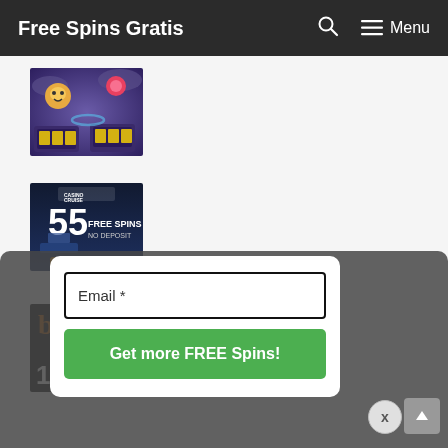Free Spins Gratis  🔍  ≡ Menu
[Figure (photo): Colorful slot game screenshot with cartoon characters on a purple/night sky background]
[Figure (photo): Casino Cruise banner showing '55 FREE SPINS NO DEPOSIT' with a cruise ship image and Play Now button]
[Figure (screenshot): Dark casino banner with partial text and '100' visible at bottom left]
Email *
Get more FREE Spins!